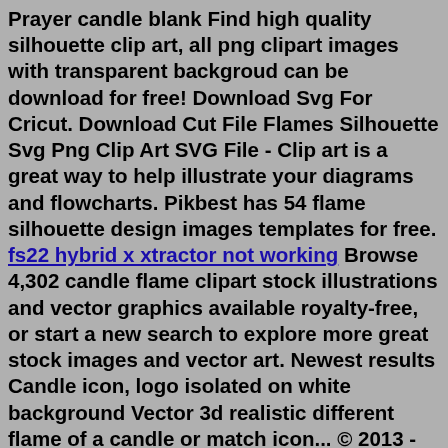Prayer candle blank Find high quality silhouette clip art, all png clipart images with transparent backgroud can be download for free! Download Svg For Cricut. Download Cut File Flames Silhouette Svg Png Clip Art SVG File - Clip art is a great way to help illustrate your diagrams and flowcharts. Pikbest has 54 flame silhouette design images templates for free. fs22 hybrid x xtractor not working Browse 4,302 candle flame clipart stock illustrations and vector graphics available royalty-free, or start a new search to explore more great stock images and vector art. Newest results Candle icon, logo isolated on white background Vector 3d realistic different flame of a candle or match icon... © 2013 - 2022 ClipArt Best - Download thousand of cliparts for free! - Contact Us - Privacy PolicyContact Us - Privacy Policytwo white tealight candles and glass holders illustration, Birthday cake Soy candle, candle, white, candle, sticker png blue flame, Flame Fire, flame, blue, combustion, electric Blue png Candle Birthday, Bon, bon, elle, sticker, birthday, banner, Birthday Year...